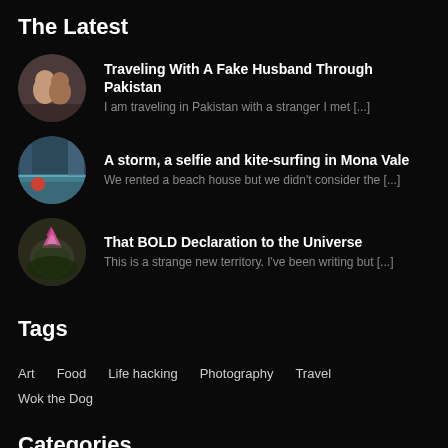The Latest
Traveling With A Fake Husband Through Pakistan
I am traveling in Pakistan with a stranger I met [...]
A storm, a selfie and kite-surfing in Mona Vale
We rented a beach house but we didn't consider the [...]
That BOLD Declaration to the Universe
This is a strange new territory. I've been writing but [...]
Tags
Art
Food
Life hacking
Photography
Travel
Wok the Dog
Categories
Series
Food